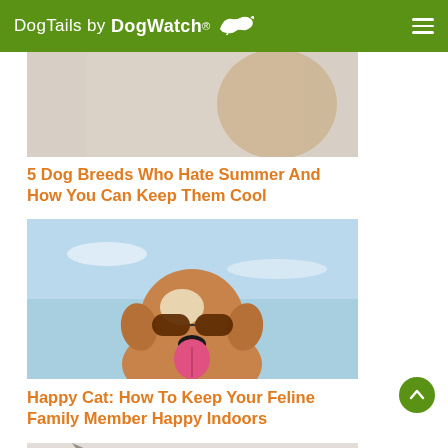DogTails by DogWatch
[Figure (photo): Partial photo of a dog, top cropped, beige/tan background]
5 Dog Breeds Who Hate Summer And How You Can Keep Them Cool
[Figure (photo): Pit bull dog wearing sunglasses against a blue sky background, tongue out, smiling]
Happy Cat: How To Keep Your Feline Family Member Happy Indoors
[Figure (photo): Partially visible cat and human hand, light/beige background]